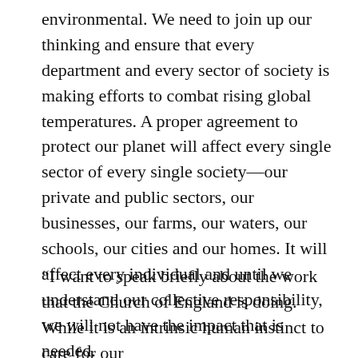environmental. We need to join up our thinking and ensure that every department and every sector of society is making efforts to combat rising global temperatures. A proper agreement to protect our planet will affect every single sector of every single society—our private and public sectors, our businesses, our farms, our waters, our schools, our cities and our homes. It will affect every individual and until we understand our collective responsibility, we will not have the impact that is needed.
“I want to speak briefly about the work that the Church of England is doing. While it is an intrinsic human instinct to care for our